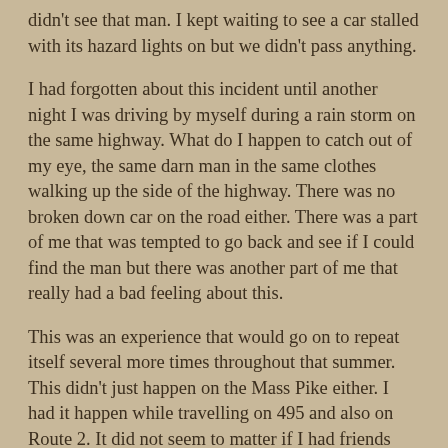didn't see that man. I kept waiting to see a car stalled with its hazard lights on but we didn't pass anything.
I had forgotten about this incident until another night I was driving by myself during a rain storm on the same highway. What do I happen to catch out of my eye, the same darn man in the same clothes walking up the side of the highway. There was no broken down car on the road either. There was a part of me that was tempted to go back and see if I could find the man but there was another part of me that really had a bad feeling about this.
This was an experience that would go on to repeat itself several more times throughout that summer. This didn't just happen on the Mass Pike either. I had it happen while travelling on 495 and also on Route 2. It did not seem to matter if I had friends with me or not. I seem to be the only person that saw this man and he only appeared when it was raining.
I don't understand why this was happening. He had no other discernible features other than what I described above. There were no deaths in my family or any other bad experiences that year. I had started to think it was a warning of some sort but I can't think of what it might have been. To this day I still have no idea what the purpose of this was and why I was the only one that